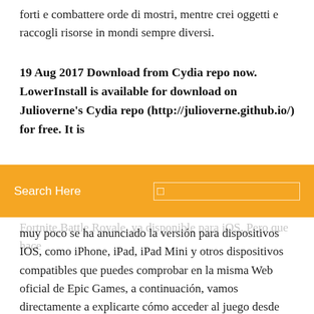forti e combattere orde di mostri, mentre crei oggetti e raccogli risorse in mondi sempre diversi.
19 Aug 2017 Download from Cydia repo now. LowerInstall is available for download on Julioverne's Cydia repo (http://julioverne.github.io/) for free. It is available with iOS 9 and 10. You can use Fortnite...
[Figure (screenshot): Orange search bar overlay with 'Search Here' text and a small square icon on the right]
Fortnite Battle Royale, ya disponible para iOS. Pero que hace muy poco se ha anunciado la versión para dispositivos IOS, como iPhone, iPad, iPad Mini y otros dispositivos compatibles que puedes comprobar en la misma Web oficial de Epic Games, a continuación, vamos directamente a explicarte cómo acceder al juego desde terminales IOS. Download latest version of Fortnite 4.4.2 IPA Cracked file for iOS Devices with direct link for iPhone and iPad. Download latest version of Fortnite 4.4.2 IPA Cracked file for iOS Devices with direct link for iPhone and iPad. MobGameZone ← Evoland 1.6.9 Apk Mod Android Download